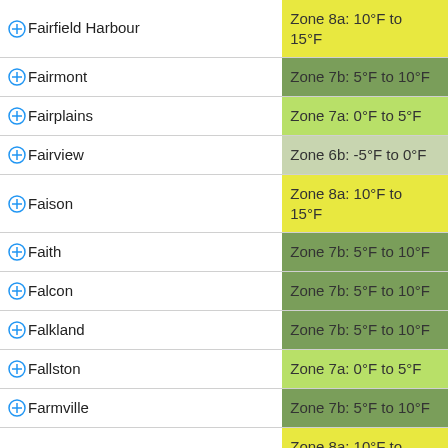| Place | Zone |
| --- | --- |
| Fairfield Harbour | Zone 8a: 10°F to 15°F |
| Fairmont | Zone 7b: 5°F to 10°F |
| Fairplains | Zone 7a: 0°F to 5°F |
| Fairview | Zone 6b: -5°F to 0°F |
| Faison | Zone 8a: 10°F to 15°F |
| Faith | Zone 7b: 5°F to 10°F |
| Falcon | Zone 7b: 5°F to 10°F |
| Falkland | Zone 7b: 5°F to 10°F |
| Fallston | Zone 7a: 0°F to 5°F |
| Farmville | Zone 7b: 5°F to 10°F |
| Fayetteville | Zone 8a: 10°F to 15°F |
| Fayetteville/Pope AFB | Zone 8a: 10°F to 15°F |
| Fearrington | Zone 7a: 0°F to 5°F |
| Fearrington Village | Zone 7a: 0°F to 5°F |
| Ferguson | Zone 7a: 0°F to 5°F |